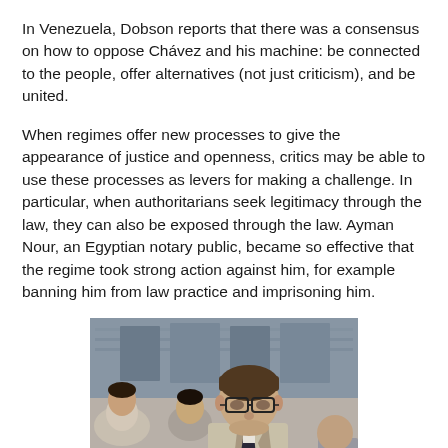In Venezuela, Dobson reports that there was a consensus on how to oppose Chávez and his machine: be connected to the people, offer alternatives (not just criticism), and be united.
When regimes offer new processes to give the appearance of justice and openness, critics may be able to use these processes as levers for making a challenge. In particular, when authoritarians seek legitimacy through the law, they can also be exposed through the law. Ayman Nour, an Egyptian notary public, became so effective that the regime took strong action against him, for example banning him from law practice and imprisoning him.
[Figure (photo): Photograph of a man in a light-colored suit with a dark tie, wearing glasses, standing outdoors in front of a building, with other people visible in the background. This appears to be Ayman Nour.]